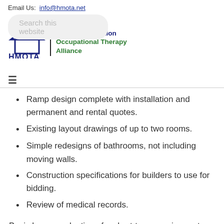Email Us: info@hmota.net
[Figure (logo): HMOTA logo with house icon and text: Home Modification Occupational Therapy Alliance, with a search bar overlay]
Ramp design complete with installation and permanent and rental quotes.
Existing layout drawings of up to two rooms.
Simple redesigns of bathrooms, not including moving walls.
Construction specifications for builders to use for bidding.
Review of medical records.
Basic home evaluations for short-term requirements